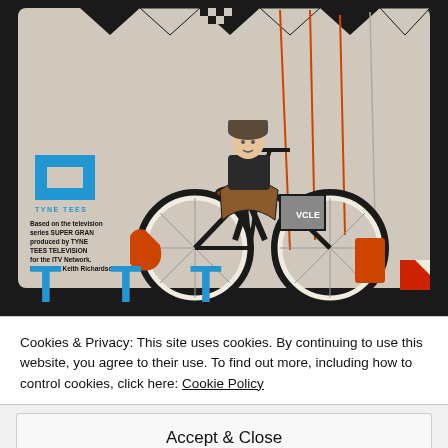[Figure (illustration): Cover art from a Super Gran book/VHS. Shows a person (an elderly woman in plaid outfit and cap) riding a heavily decorated bicycle with flags, kites, and various attachments. On the left side is the Tyne Tees Television logo (blue FT-like symbol) and text reading: TYNE TEES / Based on the television series SUPER GRAN produced by TYNE TEES TELEVISION for the ITV Network. / Producer: Keith Richardson. Below the image partially visible is large stylized text in blue.]
Cookies & Privacy: This site uses cookies. By continuing to use this website, you agree to their use. To find out more, including how to control cookies, click here: Cookie Policy
Accept & Close